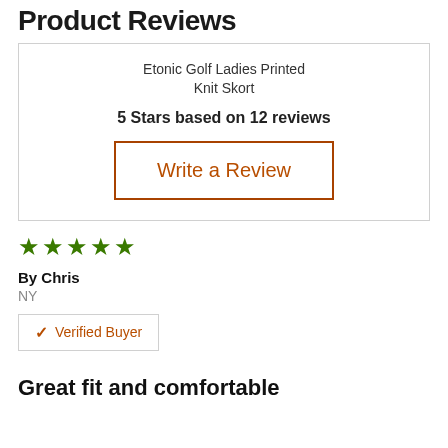Product Reviews
Etonic Golf Ladies Printed Knit Skort
5 Stars based on 12 reviews
Write a Review
[Figure (other): Five green filled star icons indicating a 5-star rating]
By Chris
NY
✔ Verified Buyer
Great fit and comfortable